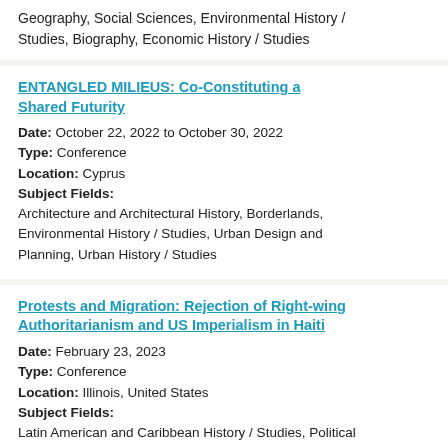Geography, Social Sciences, Environmental History / Studies, Biography, Economic History / Studies
ENTANGLED MILIEUS: Co-Constituting a Shared Futurity
Date: October 22, 2022 to October 30, 2022
Type: Conference
Location: Cyprus
Subject Fields:
Architecture and Architectural History, Borderlands, Environmental History / Studies, Urban Design and Planning, Urban History / Studies
Protests and Migration: Rejection of Right-wing Authoritarianism and US Imperialism in Haiti
Date: February 23, 2023
Type: Conference
Location: Illinois, United States
Subject Fields:
Latin American and Caribbean History / Studies, Political Science